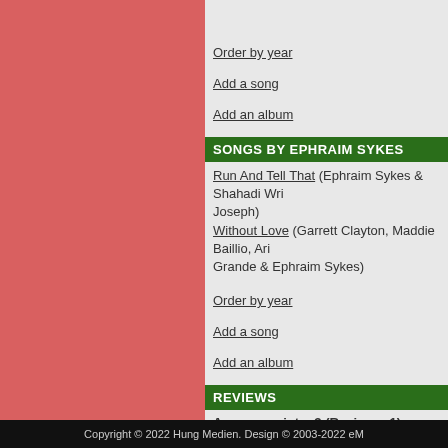Order by year
Add a song
Add an album
SONGS BY EPHRAIM SYKES
Run And Tell That (Ephraim Sykes & Shahadi Wright Joseph)
Without Love (Garrett Clayton, Maddie Baillio, Ariana Grande & Ephraim Sykes)
Order by year
Add a song
Add an album
REVIEWS
Average points: 3 (Reviews: 1)
14.04.2018 05:34   ***
Rela   Nicht mein Fall
Member
Add a review
Copyright © 2022 Hung Medien. Design © 2003-2022 eM